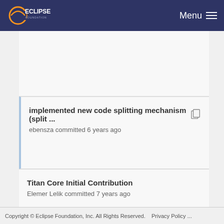Eclipse Foundation — Menu
implemented new code splitting mechanism (split ...) — ebensza committed 6 years ago
Titan Core Initial Contribution — Elemer Lelik committed 7 years ago
Copyright © Eclipse Foundation, Inc. All Rights Reserved. Privacy Policy ...